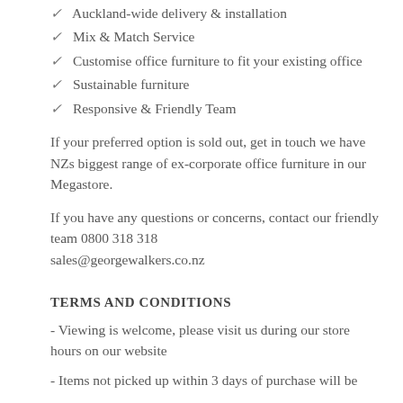✓ Auckland-wide delivery & installation
✓ Mix & Match Service
✓ Customise office furniture to fit your existing office
✓ Sustainable furniture
✓ Responsive & Friendly Team
If your preferred option is sold out, get in touch we have NZs biggest range of ex-corporate office furniture in our Megastore.
If you have any questions or concerns, contact our friendly team 0800 318 318
sales@georgewalkers.co.nz
TERMS AND CONDITIONS
- Viewing is welcome, please visit us during our store hours on our website
- Items not picked up within 3 days of purchase will be